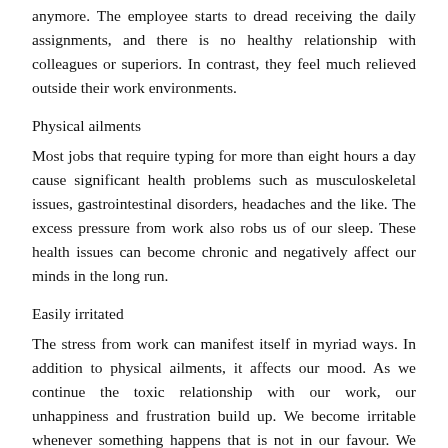anymore. The employee starts to dread receiving the daily assignments, and there is no healthy relationship with colleagues or superiors. In contrast, they feel much relieved outside their work environments.
Physical ailments
Most jobs that require typing for more than eight hours a day cause significant health problems such as musculoskeletal issues, gastrointestinal disorders, headaches and the like. The excess pressure from work also robs us of our sleep. These health issues can become chronic and negatively affect our minds in the long run.
Easily irritated
The stress from work can manifest itself in myriad ways. In addition to physical ailments, it affects our mood. As we continue the toxic relationship with our work, our unhappiness and frustration build up. We become irritable whenever something happens that is not in our favour. We lash out at our loved ones and misbehave with them.